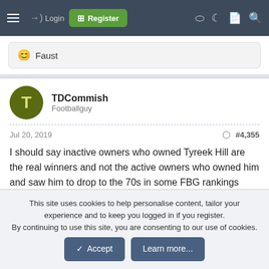Login | Register
😊 Faust
TDCommish
Footballguy
Jul 20, 2019 #4,355
I should say inactive owners who owned Tyreek Hill are the real winners and not the active owners who owned him and saw him to drop to the 70s in some FBG rankings and/or read all the posts here. The info here probably helps the majority of the time.
This site uses cookies to help personalise content, tailor your experience and to keep you logged in if you register.
By continuing to use this site, you are consenting to our use of cookies.
Accept  Learn more...